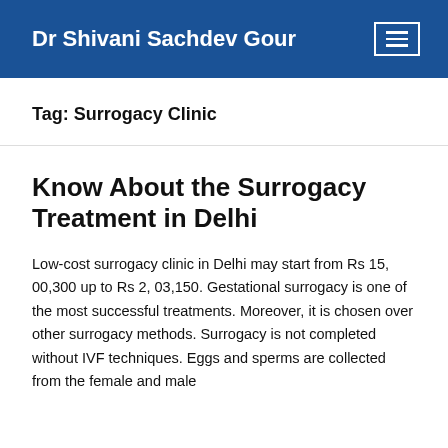Dr Shivani Sachdev Gour
Tag: Surrogacy Clinic
Know About the Surrogacy Treatment in Delhi
Low-cost surrogacy clinic in Delhi may start from Rs 15, 00,300 up to Rs 2, 03,150. Gestational surrogacy is one of the most successful treatments. Moreover, it is chosen over other surrogacy methods. Surrogacy is not completed without IVF techniques. Eggs and sperms are collected from the female and male